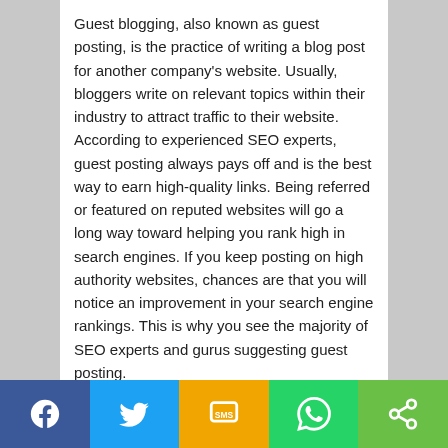Guest blogging, also known as guest posting, is the practice of writing a blog post for another company's website. Usually, bloggers write on relevant topics within their industry to attract traffic to their website. According to experienced SEO experts, guest posting always pays off and is the best way to earn high-quality links. Being referred or featured on reputed websites will go a long way toward helping you rank high in search engines. If you keep posting on high authority websites, chances are that you will notice an improvement in your search engine rankings. This is why you see the majority of SEO experts and gurus suggesting guest posting.
[Figure (infographic): Social share bar with five buttons: Facebook (dark blue, f icon), Twitter (light blue, bird icon), SMS (amber/gold, SMS icon), WhatsApp (green, phone icon), Share (lime green, share icon)]